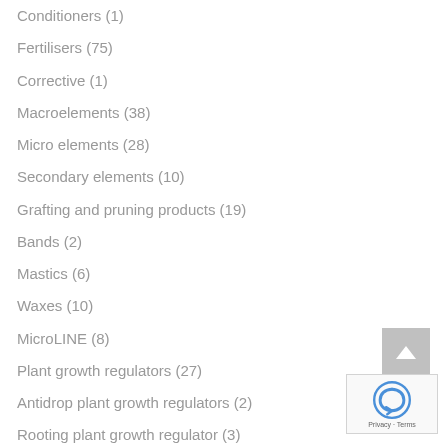Conditioners (1)
Fertilisers (75)
Corrective (1)
Macroelements (38)
Micro elements (28)
Secondary elements (10)
Grafting and pruning products (19)
Bands (2)
Mastics (6)
Waxes (10)
MicroLINE (8)
Plant growth regulators (27)
Antidrop plant growth regulators (2)
Rooting plant growth regulator (3)